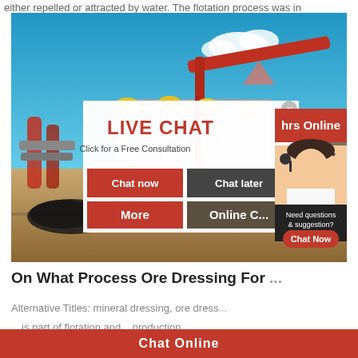either repelled or attracted by water. The flotation process was in
[Figure (photo): Industrial mining site with workers in yellow hard hats and heavy equipment under blue sky, with a live chat overlay popup showing LIVE CHAT - Click for a Free Consultation, Chat now / Chat later buttons, an hrs Online red banner, and a customer service representative on the right side.]
On What Process Ore Dressing For
Alternative Titles: mineral dressing, ore dress...
Chat Online